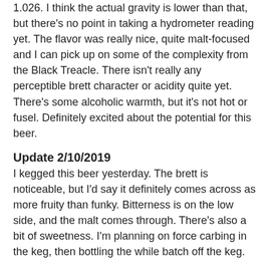1.026. I think the actual gravity is lower than that, but there's no point in taking a hydrometer reading yet. The flavor was really nice, quite malt-focused and I can pick up on some of the complexity from the Black Treacle. There isn't really any perceptible brett character or acidity quite yet. There's some alcoholic warmth, but it's not hot or fusel. Definitely excited about the potential for this beer.
Update 2/10/2019
I kegged this beer yesterday. The brett is noticeable, but I'd say it definitely comes across as more fruity than funky. Bitterness is on the low side, and the malt comes through. There's also a bit of sweetness. I'm planning on force carbing in the keg, then bottling the while batch off the keg.
rob@microbusbrewery.org at 9:41 AM    No comments:
Thursday, November 15, 2018
Funky Wit
After work brew session! I'm trying to fit a couple brews in